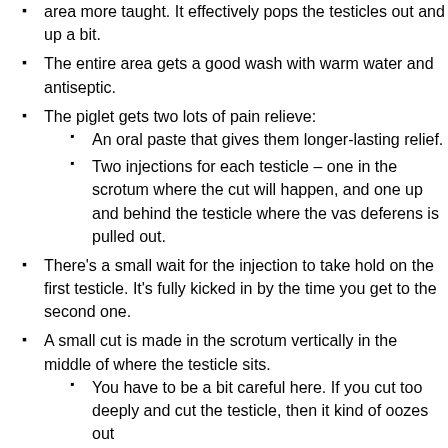area more taught. It effectively pops the testicles out and up a bit.
The entire area gets a good wash with warm water and antiseptic.
The piglet gets two lots of pain relieve:
An oral paste that gives them longer-lasting relief.
Two injections for each testicle – one in the scrotum where the cut will happen, and one up and behind the testicle where the vas deferens is pulled out.
There's a small wait for the injection to take hold on the first testicle. It's fully kicked in by the time you get to the second one.
A small cut is made in the scrotum vertically in the middle of where the testicle sits.
You have to be a bit careful here. If you cut too deeply and cut the testicle, then it kind of oozes out